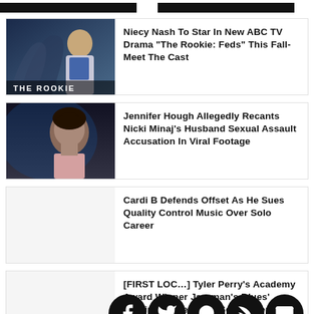Niecy Nash To Star In New ABC TV Drama “The Rookie: Feds” This Fall- Meet The Cast
Jennifer Hough Allegedly Recants Nicki Minaj’s Husband Sexual Assault Accusation In Viral Footage
Cardi B Defends Offset As He Sues Quality Control Music Over Solo Career
[FIRST LOOK] Tyler Perry’s Academy Award Winner Jazzman’s Blues’ Coming To Netflix In September